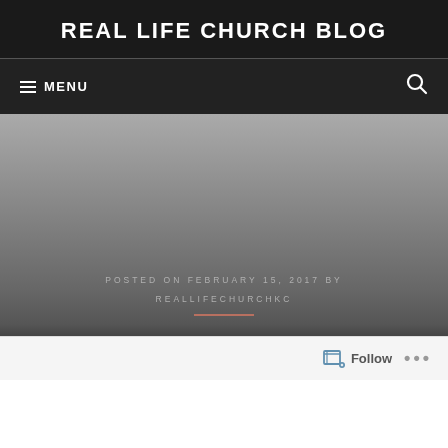REAL LIFE CHURCH BLOG
≡ MENU
[Figure (photo): Gray gradient hero image area for a blog post header, fading from light gray at top to dark gray at bottom]
POSTED ON FEBRUARY 15, 2017 BY REALLIFECHURCHKC
Follow ...